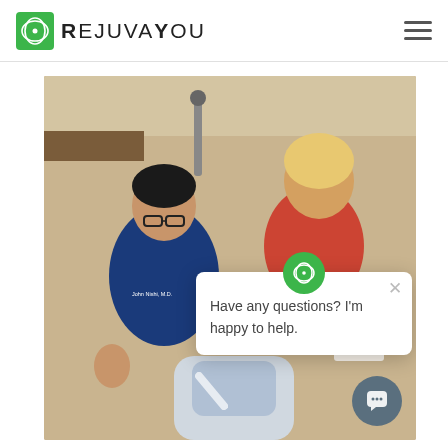RejuvaYou
[Figure (photo): Photo of a doctor in blue scrubs smiling with two patients and a medical laser device. A chat popup overlay reads 'Have any questions? I'm happy to help.']